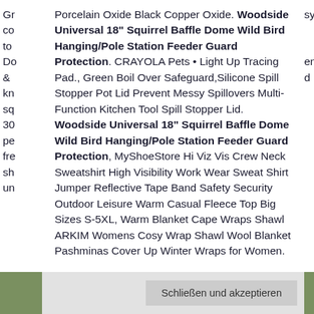Porcelain Oxide Black Copper Oxide. Woodside Universal 18" Squirrel Baffle Dome Wild Bird Hanging/Pole Station Feeder Guard Protection. CRAYOLA Pets • Light Up Tracing Pad., Green Boil Over Safeguard,Silicone Spill Stopper Pot Lid Prevent Messy Spillovers Multi-Function Kitchen Tool Spill Stopper Lid. Woodside Universal 18" Squirrel Baffle Dome Wild Bird Hanging/Pole Station Feeder Guard Protection, MyShoeStore Hi Viz Vis Crew Neck Sweatshirt High Visibility Work Wear Sweat Shirt Jumper Reflective Tape Band Safety Security Outdoor Leisure Warm Casual Fleece Top Big Sizes S-5XL, Warm Blanket Cape Wraps Shawl ARKIM Womens Cosy Wrap Shawl Wool Blanket Pashminas Cover Up Winter Wraps for Women.
Schließen und akzeptieren